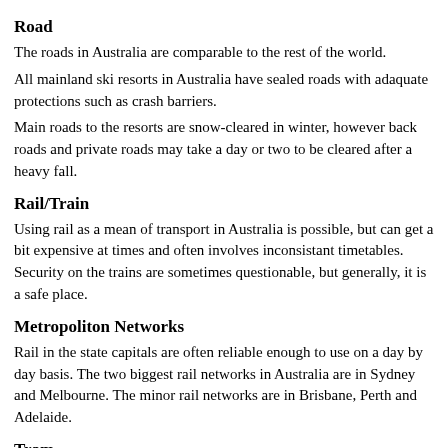Road
The roads in Australia are comparable to the rest of the world.
All mainland ski resorts in Australia have sealed roads with adaquate protections such as crash barriers.
Main roads to the resorts are snow-cleared in winter, however back roads and private roads may take a day or two to be cleared after a heavy fall.
Rail/Train
Using rail as a mean of transport in Australia is possible, but can get a bit expensive at times and often involves inconsistant timetables. Security on the trains are sometimes questionable, but generally, it is a safe place.
Metropoliton Networks
Rail in the state capitals are often reliable enough to use on a day by day basis. The two biggest rail networks in Australia are in Sydney and Melbourne. The minor rail networks are in Brisbane, Perth and Adelaide.
Tram
Melbourne is the only city in Australia that has a reliable and comprehensive tram network used for non-tourist reasons.